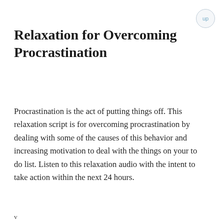Relaxation for Overcoming Procrastination
Procrastination is the act of putting things off. This relaxation script is for overcoming procrastination by dealing with some of the causes of this behavior and increasing motivation to deal with the things on your to do list. Listen to this relaxation audio with the intent to take action within the next 24 hours.
v